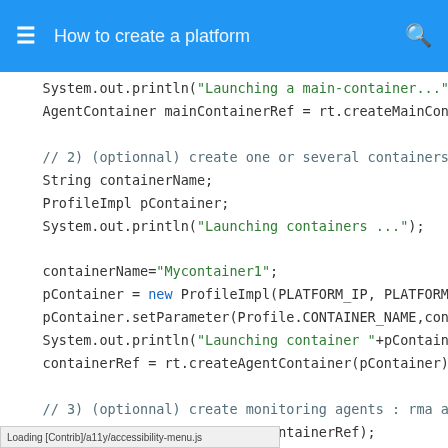How to create a platform
[Figure (screenshot): Code snippet showing Java code for creating JADE agent containers and monitoring agents, including System.out.println statements, containerName, pContainer, createMonitoringAgents, and other platform setup code.]
Loading [Contrib]/a11y/accessibility-menu.js